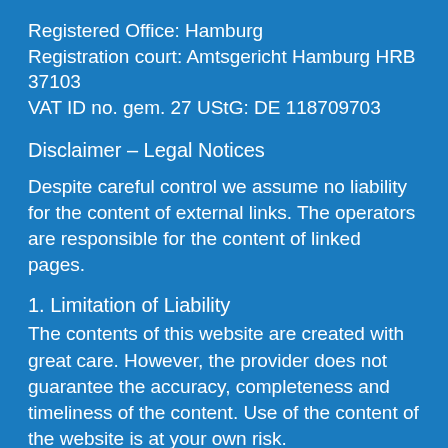Registered Office: Hamburg
Registration court: Amtsgericht Hamburg HRB 37103
VAT ID no. gem. 27 UStG: DE 118709703
Disclaimer – Legal Notices
Despite careful control we assume no liability for the content of external links. The operators are responsible for the content of linked pages.
1. Limitation of Liability
The contents of this website are created with great care. However, the provider does not guarantee the accuracy, completeness and timeliness of the content. Use of the content of the website is at your own risk.
Contributions by the opinion of the author